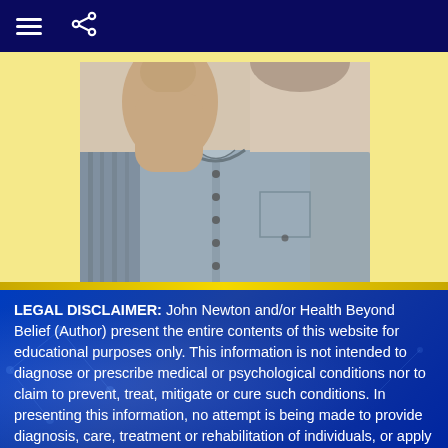Navigation bar with menu and share icons
[Figure (photo): Close-up photo of a man in a grey button-up shirt with his hand raised near his face, viewed from chest up against a light background]
LEGAL DISCLAIMER: John Newton and/or Health Beyond Belief (Author) present the entire contents of this website for educational purposes only. This information is not intended to diagnose or prescribe medical or psychological conditions nor to claim to prevent, treat, mitigate or cure such conditions. In presenting this information, no attempt is being made to provide diagnosis, care, treatment or rehabilitation of individuals, or apply medical, mental health or human development principles to provide diagnosing, treating, operating or prescribing for any human disease, pain, injury, deformity or physical condition. The information contained herein is not intended to replace